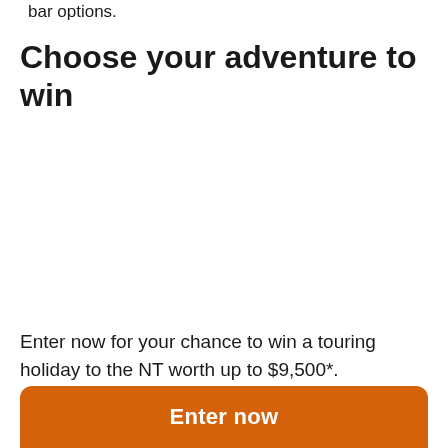bar options.
Choose your adventure to win
Enter now for your chance to win a touring holiday to the NT worth up to $9,500*.
Enter now